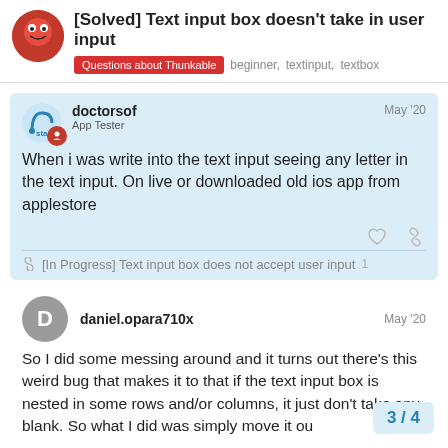[Solved] Text input box doesn't take in user input — Questions about Thunkable, beginner, textinput, textbox
doctorsof
App Tester
May '20
When i was write into the text input seeing any letter in the text input. On live or downloaded old ios app from applestore
[In Progress] Text input box does not accept user input  1
daniel.opara710x
May '20
So I did some messing around and it turns out there's this weird bug that makes it to that if the text input box is nested in some rows and/or columns, it just don't take any blank. So what I did was simply move it ou
3 / 4